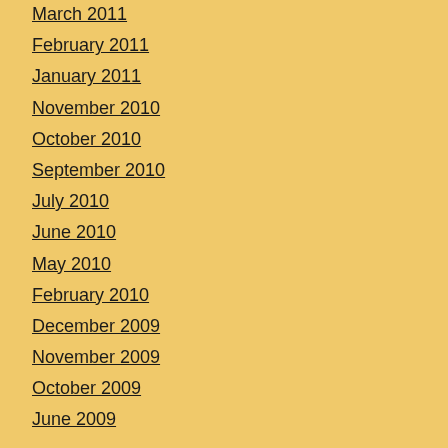March 2011
February 2011
January 2011
November 2010
October 2010
September 2010
July 2010
June 2010
May 2010
February 2010
December 2009
November 2009
October 2009
June 2009